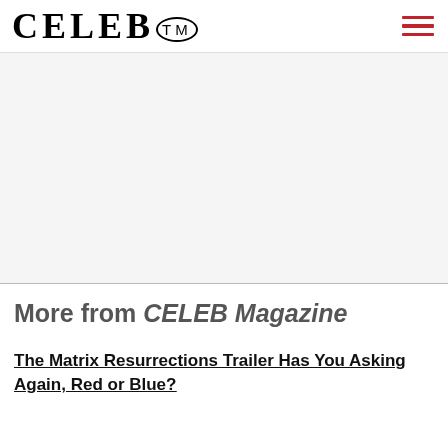CELEB™
[Figure (other): Large blank/white advertisement placeholder area]
More from CELEB Magazine
The Matrix Resurrections Trailer Has You Asking Again, Red or Blue?